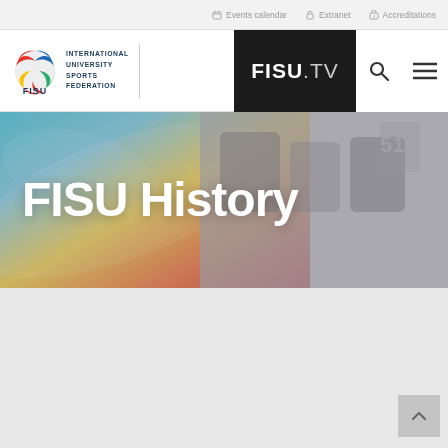Events calendar  Extranet  Accreditations
[Figure (logo): FISU International University Sports Federation logo with colorful swirl emblem and wordmark, FISU.TV dark box, search and hamburger menu icons]
FISU History
[Figure (photo): Hero banner background showing colorful gradient (blue, yellow, red) on left and grayscale photo of athletes on right]